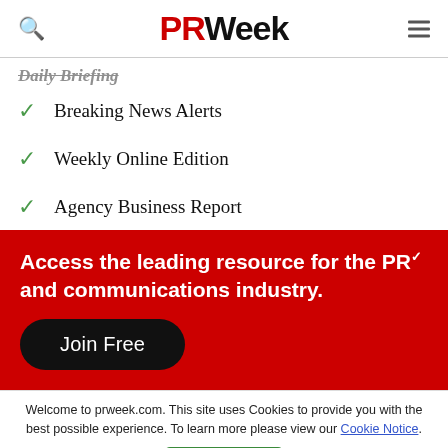PRWeek
Daily Briefing (partial, cut off)
Breaking News Alerts
Weekly Online Edition
Agency Business Report
Access the leading resource for the PR and communications industry.
Join Free
Welcome to prweek.com. This site uses Cookies to provide you with the best possible experience. To learn more please view our Cookie Notice.
Close